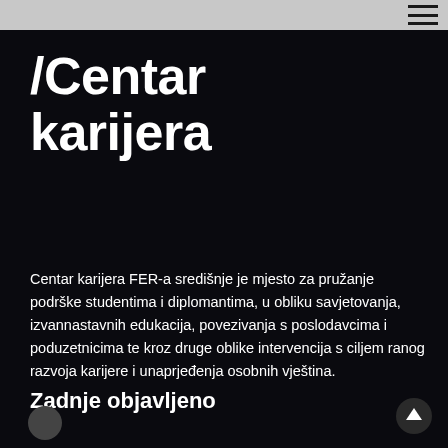/Centar karijera
Centar karijera FER-a središnje je mjesto za pružanje podrške studentima i diplomantima, u obliku savjetovanja, izvannastavnih edukacija, povezivanja s poslodavcima i poduzetnicima te kroz druge oblike intervencija s ciljem ranog razvoja karijere i unaprjeđenja osobnih vještina.
Zadnje objavljeno